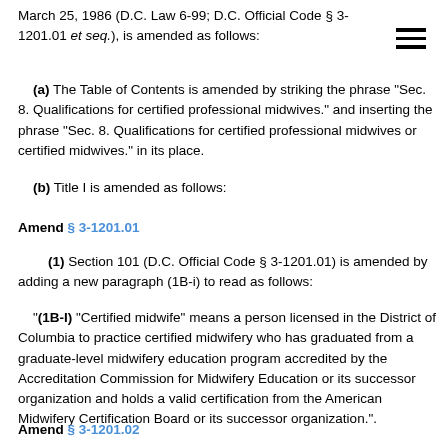March 25, 1986 (D.C. Law 6-99; D.C. Official Code § 3-1201.01 et seq.), is amended as follows:
(a) The Table of Contents is amended by striking the phrase "Sec. 8. Qualifications for certified professional midwives." and inserting the phrase "Sec. 8. Qualifications for certified professional midwives or certified midwives." in its place.
(b) Title I is amended as follows:
Amend § 3-1201.01
(1) Section 101 (D.C. Official Code § 3-1201.01) is amended by adding a new paragraph (1B-i) to read as follows:
"(1B-I) "Certified midwife" means a person licensed in the District of Columbia to practice certified midwifery who has graduated from a graduate-level midwifery education program accredited by the Accreditation Commission for Midwifery Education or its successor organization and holds a valid certification from the American Midwifery Certification Board or its successor organization.".
Amend § 3-1201.02